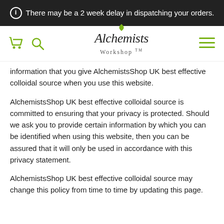ℹ There may be a 2 week delay in dispatching your orders.
[Figure (logo): Alchemists Workshop TM logo with cart, search, and hamburger menu icons]
information that you give AlchemistsShop UK best effective colloidal source when you use this website.
AlchemistsShop UK best effective colloidal source is committed to ensuring that your privacy is protected. Should we ask you to provide certain information by which you can be identified when using this website, then you can be assured that it will only be used in accordance with this privacy statement.
AlchemistsShop UK best effective colloidal source may change this policy from time to time by updating this page.